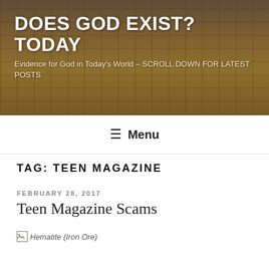DOES GOD EXIST? TODAY
Evidence for God in Today's World – SCROLL DOWN FOR LATEST POSTS
≡ Menu
TAG: TEEN MAGAZINE
FEBRUARY 28, 2017
Teen Magazine Scams
[Figure (photo): Broken image placeholder labeled 'Hematite (Iron Ore)']